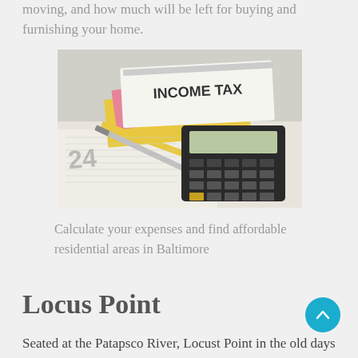moving, and how much will be left for buying and furnishing your home.
[Figure (photo): A photo of an income tax book, calculator, pen, and financial documents spread on a desk.]
Calculate your expenses and find affordable residential areas in Baltimore
Locus Point
Seated at the Patapsco River, Locust Point in the old days